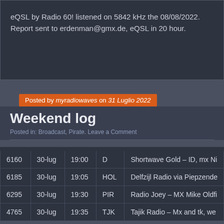eQSL by Radio 60! listened on 5842 kHz the 08/08/2022. Report sent to erdenman@gmx.de, eQSL in 20 hour.
Posted by myradiowaves on 31 Luglio 2022
Weekend log
Posted in: Broadcast, Pirate. Leave a Comment
| 6160 | 30-lug | 19:00 | D | Shortwave Gold – ID, mx Ni |
| 6185 | 30-lug | 19:05 | HOL | Delfzijl Radio via Piepzende |
| 6295 | 30-lug | 19:30 | PIR | Radio Joey – MX Mike Oldfi |
| 4765 | 30-lug | 19:35 | TJK | Tajik Radio – Mx and tk, we |